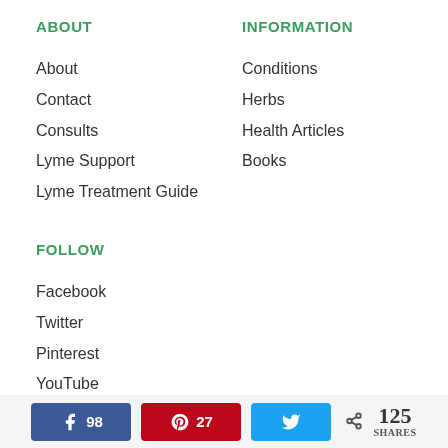ABOUT
About
Contact
Consults
Lyme Support
Lyme Treatment Guide
INFORMATION
Conditions
Herbs
Health Articles
Books
FOLLOW
Facebook
Twitter
Pinterest
YouTube
98  27  125 SHARES